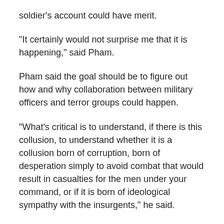soldier's account could have merit.
“It certainly would not surprise me that it is happening,” said Pham.
Pham said the goal should be to figure out how and why collaboration between military officers and terror groups could happen.
“What’s critical is to understand, if there is this collusion, to understand whether it is a collusion born of corruption, born of desperation simply to avoid combat that would result in casualties for the men under your command, or if it is born of ideological sympathy with the insurgents,” he said.
Apart from some well-trained elite units, Pham said most of Nigeria’s military is “woefully underfunded and under-